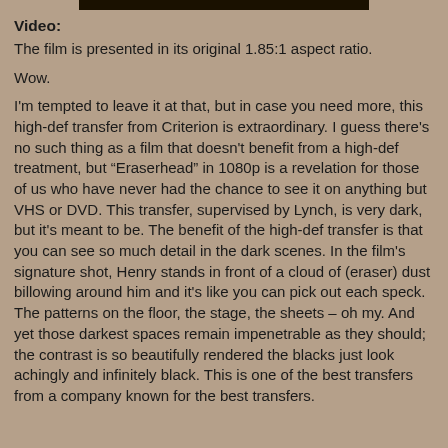[Figure (other): Black horizontal bar at the top of the page]
Video:
The film is presented in its original 1.85:1 aspect ratio.
Wow.
I'm tempted to leave it at that, but in case you need more, this high-def transfer from Criterion is extraordinary. I guess there's no such thing as a film that doesn't benefit from a high-def treatment, but “Eraserhead” in 1080p is a revelation for those of us who have never had the chance to see it on anything but VHS or DVD. This transfer, supervised by Lynch, is very dark, but it's meant to be. The benefit of the high-def transfer is that you can see so much detail in the dark scenes. In the film's signature shot, Henry stands in front of a cloud of (eraser) dust billowing around him and it's like you can pick out each speck. The patterns on the floor, the stage, the sheets – oh my. And yet those darkest spaces remain impenetrable as they should; the contrast is so beautifully rendered the blacks just look achingly and infinitely black. This is one of the best transfers from a company known for the best transfers.